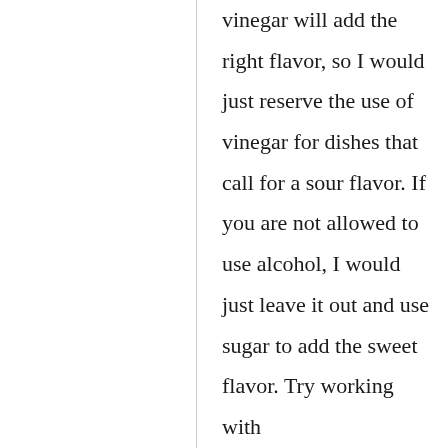vinegar will add the right flavor, so I would just reserve the use of vinegar for dishes that call for a sour flavor. If you are not allowed to use alcohol, I would just leave it out and use sugar to add the sweet flavor. Try working with